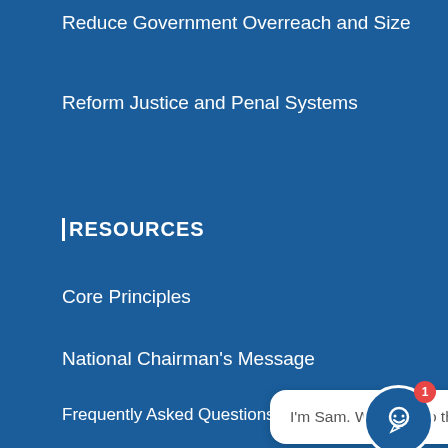Reduce Government Overreach and Size
Reform Justice and Penal Systems
RESOURCES
Core Principles
National Chairman's Message
Frequently Asked Questions
Reform Party Store
National Debt Clock
Research and e…
Events and Webinars
I'm Sam. Welcome to the Ref...